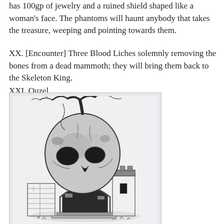has 100gp of jewelry and a ruined shield shaped like a woman's face. The phantoms will haunt anybody that takes the treasure, weeping and pointing towards them.
XX. [Encounter] Three Blood Liches solemnly removing the bones from a dead mammoth; they will bring them back to the Skeleton King.
XXI. Ouzel
[Figure (illustration): Black and white ink illustration of a large skull merged with a ruined stone castle structure, with bare gnarled trees growing from the top of the skull. The castle has arched doorways, stone walls with steps, and overgrown grass at the base.]